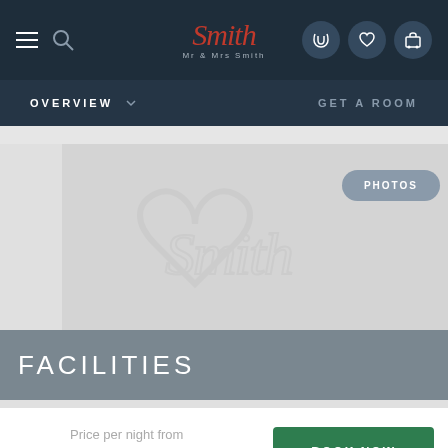Mr & Mrs Smith — Navigation bar with logo, hamburger menu, search, phone, heart, and luggage icons
OVERVIEW   GET A ROOM
[Figure (screenshot): Hotel booking website screenshot showing Mr & Mrs Smith logo placeholder image with Smith watermark script, PHOTOS button, FACILITIES section header, price per night from $209.00, and BOOK NOW button]
PHOTOS
FACILITIES
Price per night from
$209.00
BOOK NOW